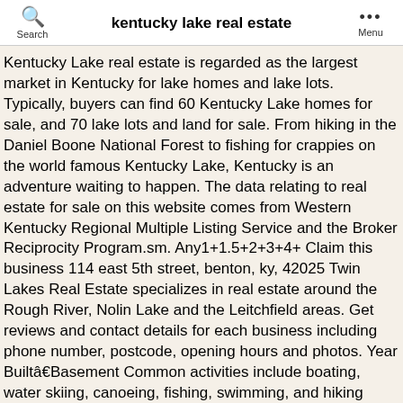kentucky lake real estate
Kentucky Lake real estate is regarded as the largest market in Kentucky for lake homes and lake lots. Typically, buyers can find 60 Kentucky Lake homes for sale, and 70 lake lots and land for sale. From hiking in the Daniel Boone National Forest to fishing for crappies on the world famous Kentucky Lake, Kentucky is an adventure waiting to happen. The data relating to real estate for sale on this website comes from Western Kentucky Regional Multiple Listing Service and the Broker Reciprocity Program.sm. Any1+1.5+2+3+4+ Claim this business 114 east 5th street, benton, ky, 42025 Twin Lakes Real Estate specializes in real estate around the Rough River, Nolin Lake and the Leitchfield areas. Get reviews and contact details for each business including phone number, postcode, opening hours and photos. Year BuiltâBasement Common activities include boating, water skiing, canoeing, fishing, swimming, and hiking around the lake. This is a one-stop real estate website for